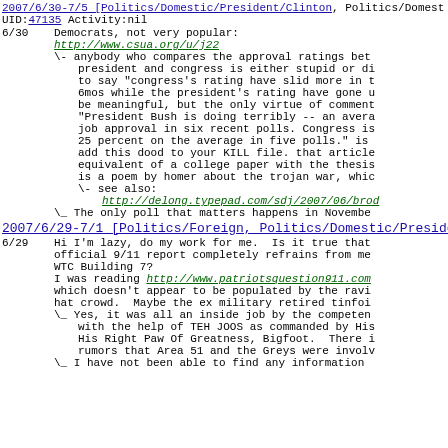2007/6/30-7/5 [Politics/Domestic/President/Clinton, Politics/Domestic/...
UID:47135 Activity:nil
6/30  Democrats, not very popular:
      http://www.csua.org/u/j22
      \- anybody who compares the approval ratings bet...
         president and congress is either stupid or di...
         to say "congress's rating have slid more in t...
         6mos while the president's rating have gone u...
         be meaningful, but the only virtue of comment...
         "President Bush is doing terribly -- an avera...
         job approval in six recent polls. Congress is...
         25 percent on the average in five polls." is ...
         add this dood to your KILL file. that article...
         equivalent of a college paper with the thesis...
         is a poem by homer about the trojan war, whic...
         \- see also:
            http://delong.typepad.com/sdj/2007/06/brod...
      \_ The only poll that matters happens in Novembe...
2007/6/29-7/1 [Politics/Foreign, Politics/Domestic/President/Bush] U...
6/29  Hi I'm lazy, do my work for me.  Is it true that...
      official 9/11 report completely refrains from me...
      WTC Building 7?
      I was reading http://www.patriotsquestion911.com...
      which doesn't appear to be populated by the ravi...
      hat crowd.  Maybe the ex military retired tinfoi...
      \_ Yes, it was all an inside job by the competen...
         with the help of TEH JOOS as commanded by His...
         His Right Paw Of Greatness, Bigfoot.  There i...
         rumors that Area 51 and the Greys were involv...
      \_ I have not been able to find any information...